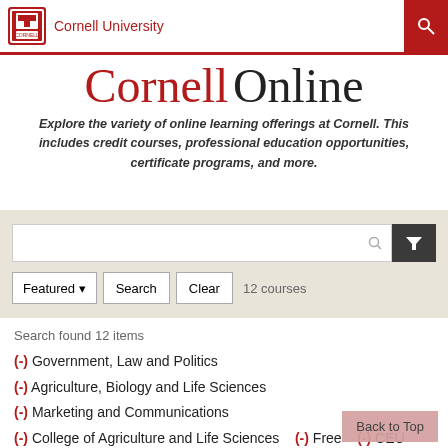Cornell University
Cornell Online
Explore the variety of online learning offerings at Cornell. This includes credit courses, professional education opportunities, certificate programs, and more.
Featured ▾  Search  Clear  12 courses
Search found 12 items
(-) Government, Law and Politics
(-) Agriculture, Biology and Life Sciences
(-) Marketing and Communications
(-) College of Agriculture and Life Sciences  (-) Free  (-) CEU
(-) CEU  (-) Self-Paced  (-) $